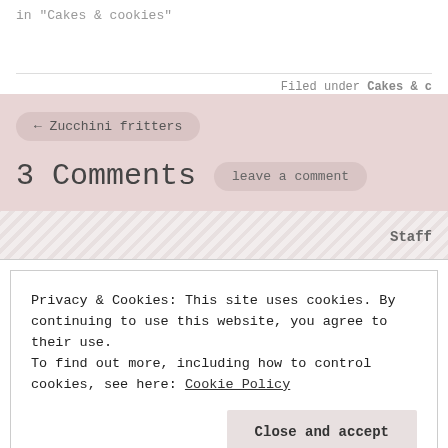in "Cakes & cookies"
Filed under Cakes & c
← Zucchini fritters
3 Comments
leave a comment
Staff
Privacy & Cookies: This site uses cookies. By continuing to use this website, you agree to their use.
To find out more, including how to control cookies, see here: Cookie Policy
Close and accept